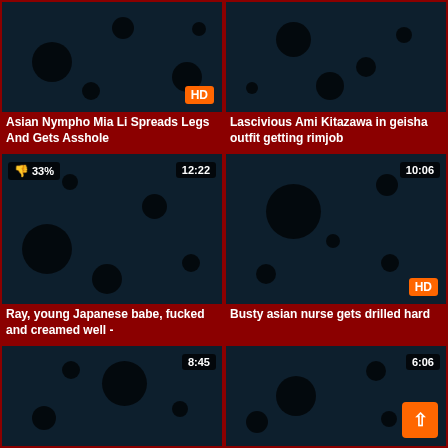[Figure (screenshot): Video thumbnail 1 with HD badge]
Asian Nympho Mia Li Spreads Legs And Gets Asshole
[Figure (screenshot): Video thumbnail 2]
Lascivious Ami Kitazawa in geisha outfit getting rimjob
[Figure (screenshot): Video thumbnail 3 with 33% rating and 12:22 duration]
Ray, young Japanese babe, fucked and creamed well -
[Figure (screenshot): Video thumbnail 4 with HD badge and 10:06 duration]
Busty asian nurse gets drilled hard
[Figure (screenshot): Video thumbnail 5 with 8:45 duration]
[Figure (screenshot): Video thumbnail 6 with 6:06 duration]